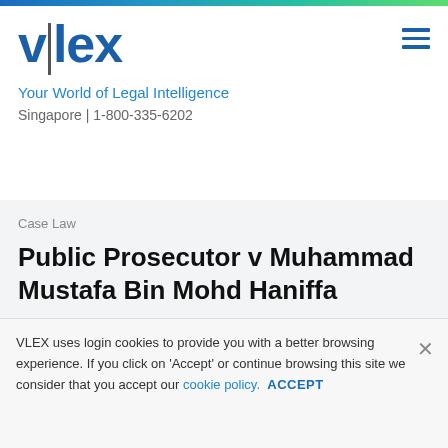[Figure (logo): vlex logo — stylized text 'v|lex' in dark blue with a vertical separator bar]
Your World of Legal Intelligence
Singapore | 1-800-335-6202
Case Law
Public Prosecutor v Muhammad Mustafa Bin Mohd Haniffa
Judgment	Cited authorities 19	Cited in	Precedent Ma...
VLEX uses login cookies to provide you with a better browsing experience. If you click on 'Accept' or continue browsing this site we consider that you accept our cookie policy. ACCEPT